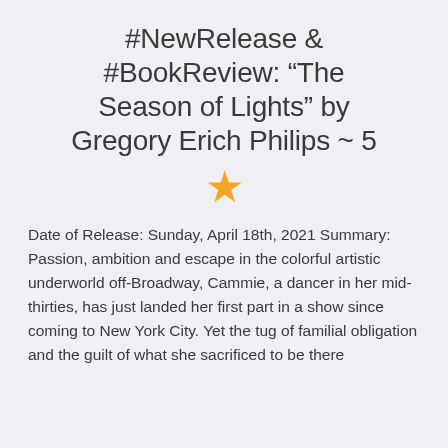#NewRelease & #BookReview: “The Season of Lights” by Gregory Erich Philips ~ 5 ★
Date of Release: Sunday, April 18th, 2021 Summary: Passion, ambition and escape in the colorful artistic underworld off-Broadway, Cammie, a dancer in her mid-thirties, has just landed her first part in a show since coming to New York City. Yet the tug of familial obligation and the guilt of what she sacrificed to be there